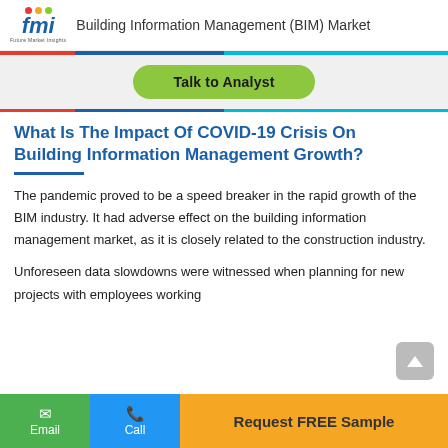Building Information Management (BIM) Market
[Figure (other): Talk to Analyst green button on grey background]
What Is The Impact Of COVID-19 Crisis On Building Information Management Growth?
The pandemic proved to be a speed breaker in the rapid growth of the BIM industry. It had adverse effect on the building information management market, as it is closely related to the construction industry.
Unforeseen data slowdowns were witnessed when planning for new projects with employees working
Email | Call | Request FREE Sample